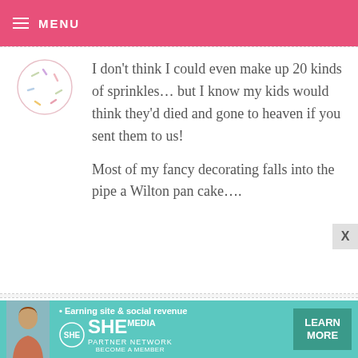MENU
I don't think I could even make up 20 kinds of sprinkles... but I know my kids would think they'd died and gone to heaven if you sent them to us!

Most of my fancy decorating falls into the pipe a Wilton pan cake....
JENNYPILGRIM — MAY 11, 2009 @ 2:24 AM
REPLY

I can understand how you feel when
[Figure (infographic): SHE Partner Network advertisement banner with a woman's photo, 'Earning site & social revenue' text, SHE logo, and 'LEARN MORE' button]